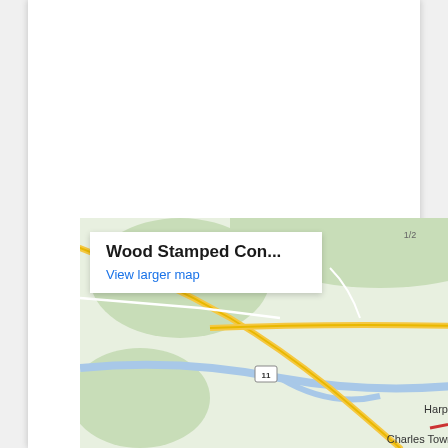[Figure (map): Google Maps embedded map showing area around Frederick, MD and Harpers Ferry, WV with roads including Route 340 and Route 15. A white overlay box in the top-left shows 'Wood Stamped Con...' and 'View larger map' link. A blue back-to-top button with an upward chevron is at the bottom right.]